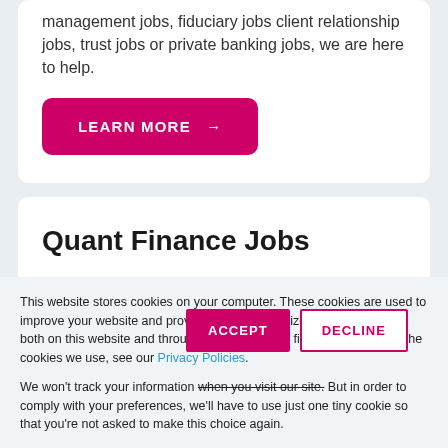management jobs, fiduciary jobs client relationship jobs, trust jobs or private banking jobs, we are here to help.
LEARN MORE →
Quant Finance Jobs
This website stores cookies on your computer. These cookies are used to improve your website and provide more personalized services to you, both on this website and through other media. To find out more about the cookies we use, see our Privacy Policies.
We won't track your information when you visit our site. But in order to comply with your preferences, we'll have to use just one tiny cookie so that you're not asked to make this choice again.